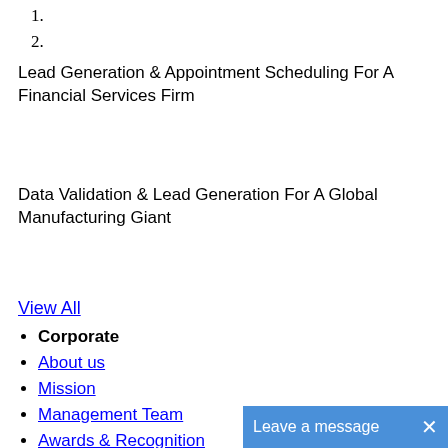1.
2.
Lead Generation & Appointment Scheduling For A Financial Services Firm
Data Validation & Lead Generation For A Global Manufacturing Giant
View All
Corporate
About us
Mission
Management Team
Awards & Recognition